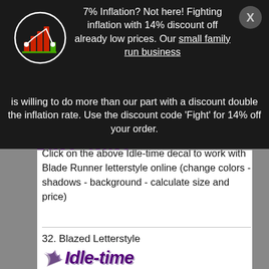[Figure (logo): Bar chart logo icon in a circle: red and green bars with a line connecting dots, white circle outline on dark background]
7% Inflation? Not here! Fighting inflation with 14% discount off already low prices. Our small family run business is willing to do more than our part with a discount double the inflation rate. Use the discount code 'Fight' for 14% off your order.
[Figure (logo): Idle-time text logo in purple italic style]
Click on the above Idle-time decal to work with Blade Runner letterstyle online (change colors - shadows - background - calculate size and price)
32. Blazed Letterstyle
[Figure (logo): Idle-time logo in Blazed letterstyle: purple bold italic text with flame/speed effect, dark shadow]